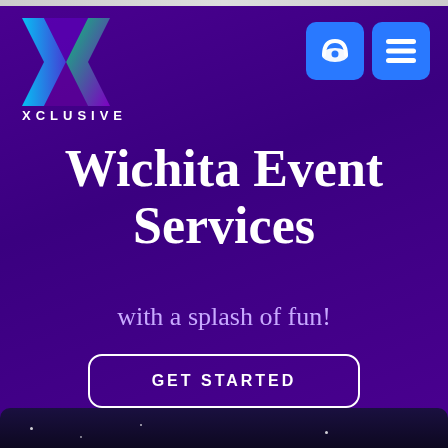[Figure (logo): X logo with blue and green gradient halves, stylized letter X]
XCLUSIVE
[Figure (other): Navigation icons: phone icon and hamburger menu icon, both on blue rounded square backgrounds]
Wichita Event Services
with a splash of fun!
GET STARTED